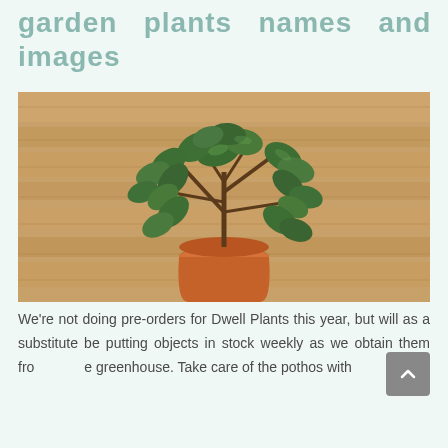garden plants names and images
[Figure (photo): A jade plant (Crassula ovata) in a terracotta pot sitting on a wooden floor. The plant has thick oval dark green leaves and a brown woody stem. The background shows the warm wood grain of a laminate floor.]
We're not doing pre-orders for Dwell Plants this year, but will as a substitute be putting objects in stock weekly as we obtain them from the greenhouse. Take care of the pothos with